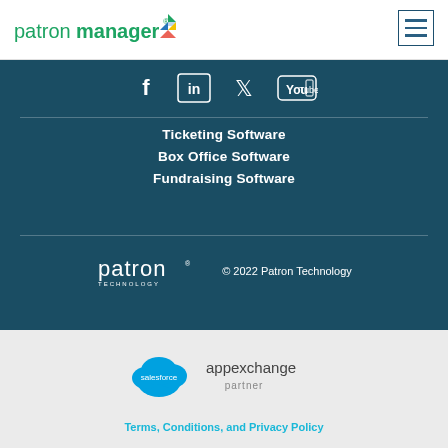[Figure (logo): PatronManager logo with diamond icon and green/bold text]
[Figure (logo): Hamburger menu icon (three horizontal lines)]
[Figure (logo): Social media icons row: Facebook, LinkedIn, Twitter, YouTube on dark teal background]
Ticketing Software
Box Office Software
Fundraising Software
[Figure (logo): Patron Technology logo in white on dark teal background]
© 2022 Patron Technology
[Figure (logo): Salesforce AppExchange Partner logo on light gray background]
Terms, Conditions, and Privacy Policy